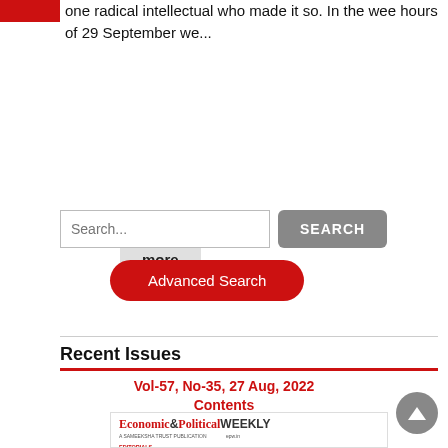one radical intellectual who made it so. In the wee hours of 29 September we...
Read more
Search...
SEARCH
Advanced Search
Recent Issues
Vol-57, No-35, 27 Aug, 2022
Contents
[Figure (screenshot): Cover of Economic & Political Weekly journal showing the masthead and article titles including 'Agricultural Extension System']